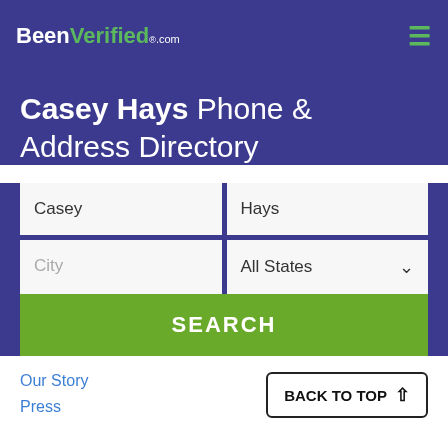BeenVerified.com
Casey Hays Phone & Address Directory
[Figure (screenshot): Search form with fields for first name (Casey), last name (Hays), city, and all states dropdown, plus a SEARCH button]
Our Story | Press | BACK TO TOP